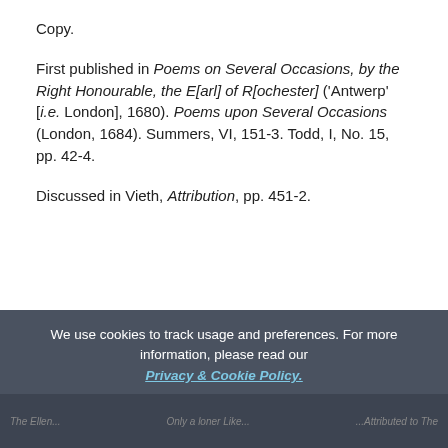Copy.
First published in Poems on Several Occasions, by the Right Honourable, the E[arl] of R[ochester] (‘Antwerp’ [i.e. London], 1680). Poems upon Several Occasions (London, 1684). Summers, VI, 151-3. Todd, I, No. 15, pp. 42-4.
Discussed in Vieth, Attribution, pp. 451-2.
We use cookies to track usage and preferences. For more information, please read our Privacy & Cookie Policy.
ACCEPT